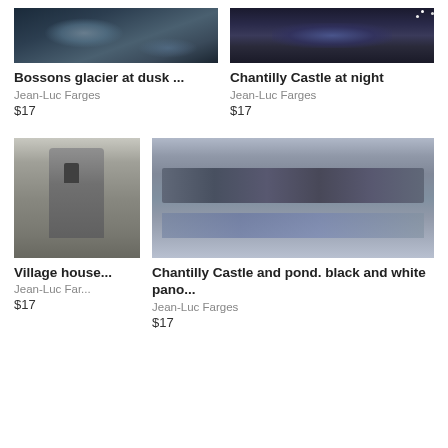[Figure (photo): Black and white photo of Bossons glacier at dusk]
Bossons glacier at dusk ...
Jean-Luc Farges
$17
[Figure (photo): Black and white photo of Chantilly Castle at night with reflection]
Chantilly Castle at night
Jean-Luc Farges
$17
[Figure (photo): Black and white photo of a village house stone tower]
Village house...
Jean-Luc Far...
$17
[Figure (photo): Black and white panoramic photo of Chantilly Castle and pond]
Chantilly Castle and pond. black and white pano...
Jean-Luc Farges
$17